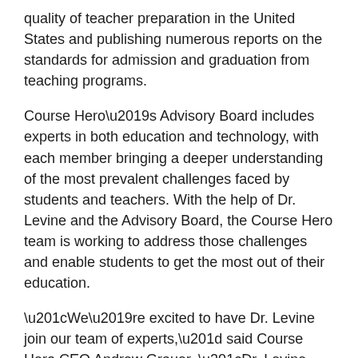quality of teacher preparation in the United States and publishing numerous reports on the standards for admission and graduation from teaching programs.
Course Hero’s Advisory Board includes experts in both education and technology, with each member bringing a deeper understanding of the most prevalent challenges faced by students and teachers. With the help of Dr. Levine and the Advisory Board, the Course Hero team is working to address those challenges and enable students to get the most out of their education.
“We’re excited to have Dr. Levine join our team of experts,” said Course Hero CEO Andrew Grauer. “Dr. Levine brings an extensive background in teacher preparation, student engagement, and STEM education. Working side-by-side with educators of his calibre is critical for our success in harnessing the power of technology to address the challenges of teaching and learning,”